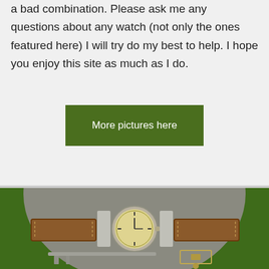a bad combination. Please ask me any questions about any watch (not only the ones featured here) I will try do my best to help. I hope you enjoy this site as much as I do.
More pictures here
[Figure (photo): A vintage Rolex watch displayed on a grey felt oval pad against a dark green background, with brown leather straps on either side and watchmaking tools arranged below.]